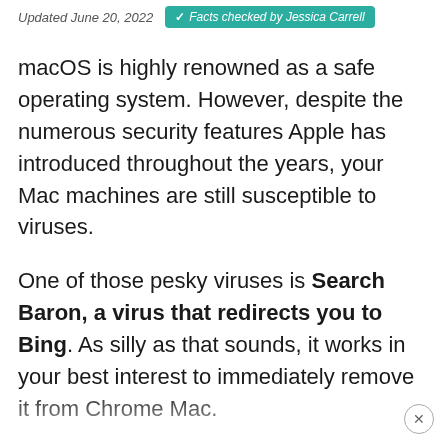Updated June 20, 2022   ✓ Facts checked by Jessica Carrell
macOS is highly renowned as a safe operating system. However, despite the numerous security features Apple has introduced throughout the years, your Mac machines are still susceptible to viruses.
One of those pesky viruses is Search Baron, a virus that redirects you to Bing. As silly as that sounds, it works in your best interest to immediately remove it from Chrome Mac.
Hi, I'm Andreas, and I have had previous experience dealing with Search Baron. I'm here to tell you that Search Baron is a browser